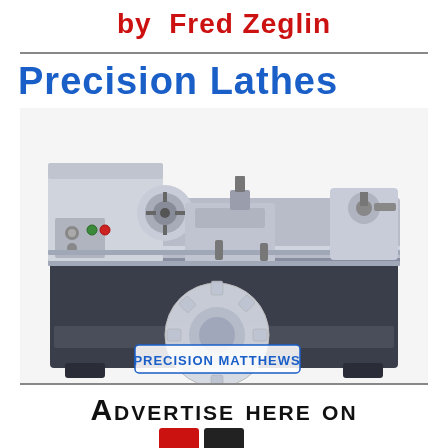by Fred Zeglin
Precision Lathes
[Figure (photo): Precision Matthews metalworking lathe machine with Precision Matthews brand logo overlay]
ADVERTISE HERE ON
[Figure (logo): Partial logo with red and dark letter shapes visible at bottom of page]